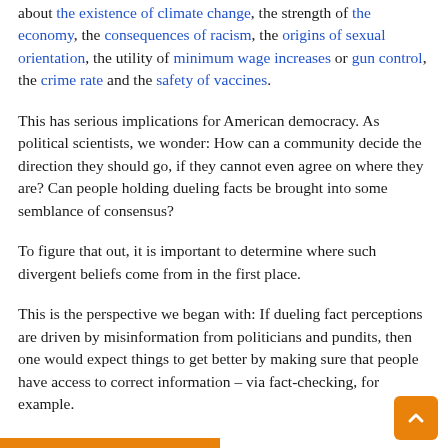about the existence of climate change, the strength of the economy, the consequences of racism, the origins of sexual orientation, the utility of minimum wage increases or gun control, the crime rate and the safety of vaccines.
This has serious implications for American democracy. As political scientists, we wonder: How can a community decide the direction they should go, if they cannot even agree on where they are? Can people holding dueling facts be brought into some semblance of consensus?
To figure that out, it is important to determine where such divergent beliefs come from in the first place.
This is the perspective we began with: If dueling fact perceptions are driven by misinformation from politicians and pundits, then one would expect things to get better by making sure that people have access to correct information – via fact-checking, for example.